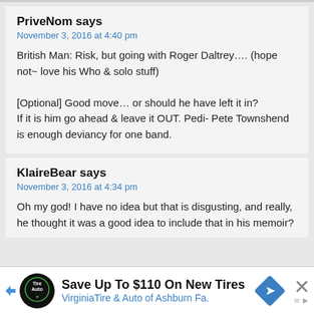PriveNom says
November 3, 2016 at 4:40 pm
British Man: Risk, but going with Roger Daltrey…. (hope not~ love his Who & solo stuff)
[Optional] Good move… or should he have left it in?
If it is him go ahead & leave it OUT. Pedi- Pete Townshend is enough deviancy for one band.
KlaireBear says
November 3, 2016 at 4:34 pm
Oh my god! I have no idea but that is disgusting, and really, he thought it was a good idea to include that in his memoir?
Save Up To $110 On New Tires
VirginiaTire & Auto of Ashburn Fa.